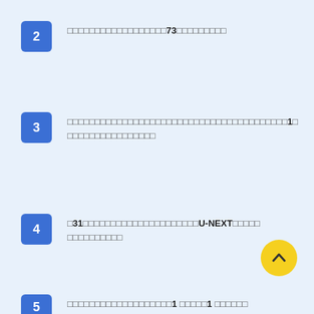2 □□□□□□□□□□□□□□□□□□73□□□□□□□□□
3 □□□□□□□□□□□□□□□□□□□□□□□□□□□□□□□□□□□□□□□□1□□□□□□□□□□□□□□□□
4 □31□□□□□□□□□□□□□□□□□□□□□U-NEXT□□□□□□□□□□□□□□
5 □□□□□□□□□□□□□□□□□□□1 □□□□□1 □□□□□□